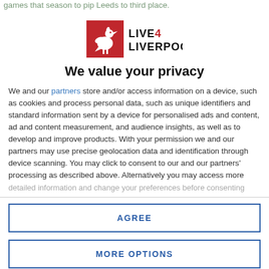games that season to pip Leeds to third place.
[Figure (logo): Live4Liverpool logo — red square with white bird (Liver bird) on left, black text LIVE4 LIVERPOOL on right]
We value your privacy
We and our partners store and/or access information on a device, such as cookies and process personal data, such as unique identifiers and standard information sent by a device for personalised ads and content, ad and content measurement, and audience insights, as well as to develop and improve products. With your permission we and our partners may use precise geolocation data and identification through device scanning. You may click to consent to our and our partners' processing as described above. Alternatively you may access more detailed information and change your preferences before consenting
AGREE
MORE OPTIONS
six-month period at Liverpool